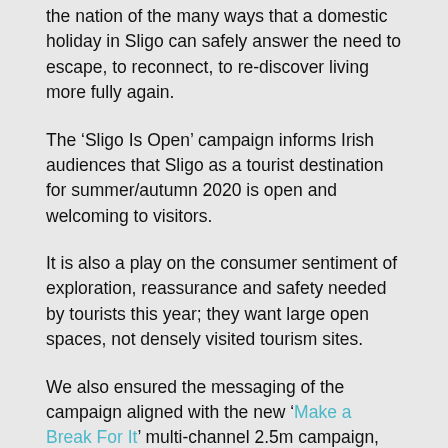the nation of the many ways that a domestic holiday in Sligo can safely answer the need to escape, to reconnect, to re-discover living more fully again.
The ‘Sligo Is Open’ campaign informs Irish audiences that Sligo as a tourist destination for summer/autumn 2020 is open and welcoming to visitors.
It is also a play on the consumer sentiment of exploration, reassurance and safety needed by tourists this year; they want large open spaces, not densely visited tourism sites.
We also ensured the messaging of the campaign aligned with the new ‘Make a Break For It’ multi-channel 2.5m campaign, recently launched by Failte Ireland.
The ‘Sligo Is Open’ campaign includes video, social, email marketing and outreach.
The measurement will be in an increase in bookings directly with accommodation providers but also via the